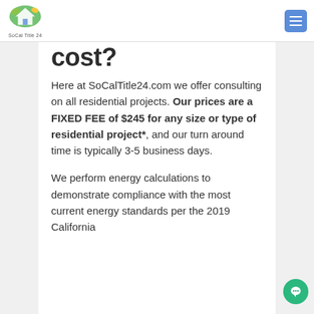SoCal Title 24
cost?
Here at SoCalTitle24.com we offer consulting on all residential projects. Our prices are a FIXED FEE of $245 for any size or type of residential project*, and our turn around time is typically 3-5 business days.
We perform energy calculations to demonstrate compliance with the most current energy standards per the 2019 California